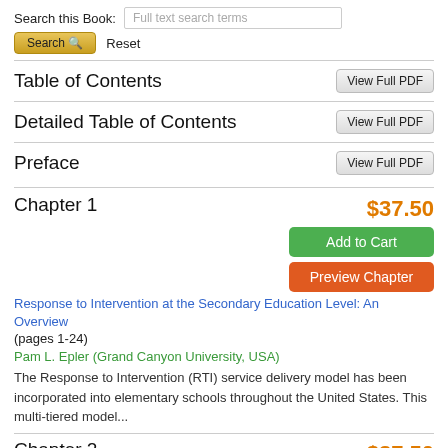Search this Book:
Full text search terms
Search  Reset
Table of Contents
Detailed Table of Contents
Preface
Chapter 1
$37.50
Response to Intervention at the Secondary Education Level: An Overview (pages 1-24)
Add to Cart
Preview Chapter
Pam L. Epler (Grand Canyon University, USA)
The Response to Intervention (RTI) service delivery model has been incorporated into elementary schools throughout the United States. This multi-tiered model...
Chapter 2
$37.50
Implementing Secondary RTI Models: Leadership Challenges (and Some Solutions) (pages 25-52)
Add to Cart
Preview Chapter